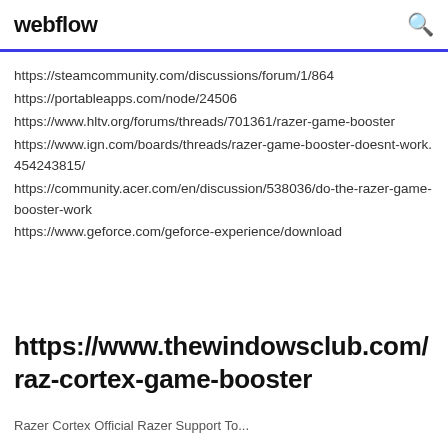webflow
https://steamcommunity.com/discussions/forum/1/864
https://portableapps.com/node/24506
https://www.hltv.org/forums/threads/701361/razer-game-booster
https://www.ign.com/boards/threads/razer-game-booster-doesnt-work.454243815/
https://community.acer.com/en/discussion/538036/do-the-razer-game-booster-work
https://www.geforce.com/geforce-experience/download
https://www.thewindowsclub.com/raz-cortex-game-booster
Razer Cortex Official Razer Support To...